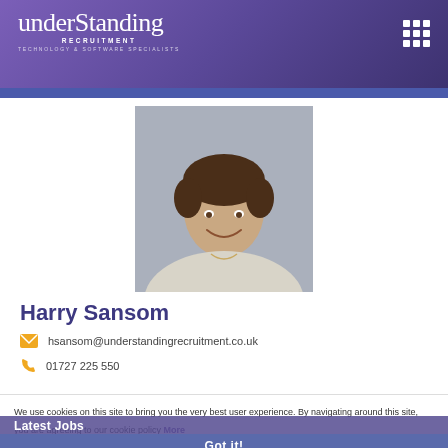[Figure (logo): Understanding Recruitment logo - white cursive text on purple gradient header with tagline TECHNOLOGY & SOFTWARE SPECIALISTS]
[Figure (photo): Professional headshot of Harry Sansom, a young man with short brown hair, smiling, wearing a light grey sweatshirt, photographed against a grey background]
Harry Sansom
hsansom@understandingrecruitment.co.uk
01727 225 550
We use cookies on this site to bring you the very best user experience. By navigating around this site, you are agreeing to our cookie policy More
Latest Jobs
Got it!
IT Manager
London, England